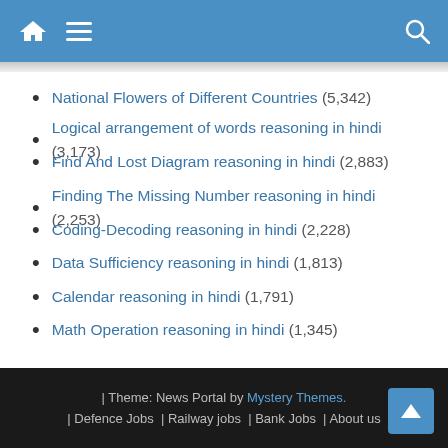Home | Menu | Search
National Flowers of Different Countries (5,342)
Logical arrangement of words reasoning in hindi (3,173)
Find And Lost Diagram reasoning in hindi (2,883)
Finding The Missing Number reasoning in hindi (2,253)
Coding-Decoding reasoning in hindi (2,228)
Data Sufficiency reasoning in hindi (1,813)
Calendar reasoning in hindi (1,791)
Math Operation reasoning in hindi (1,345)
| Theme: News Portal by Mystery Themes. | Defence Jobs | Railway jobs | Bank Jobs | About us